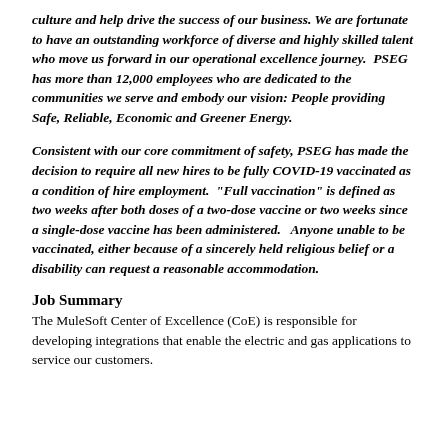culture and help drive the success of our business. We are fortunate to have an outstanding workforce of diverse and highly skilled talent who move us forward in our operational excellence journey.  PSEG has more than 12,000 employees who are dedicated to the communities we serve and embody our vision: People providing Safe, Reliable, Economic and Greener Energy.
Consistent with our core commitment of safety, PSEG has made the decision to require all new hires to be fully COVID-19 vaccinated as a condition of hire employment.  "Full vaccination" is defined as two weeks after both doses of a two-dose vaccine or two weeks since a single-dose vaccine has been administered.   Anyone unable to be vaccinated, either because of a sincerely held religious belief or a disability can request a reasonable accommodation.
Job Summary
The MuleSoft Center of Excellence (CoE) is responsible for developing integrations that enable the electric and gas applications to service our customers.